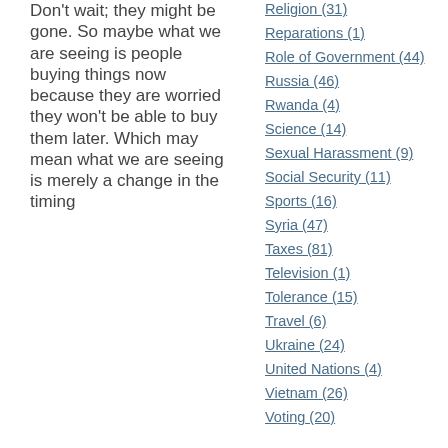Don't wait; they might be gone. So maybe what we are seeing is people buying things now because they are worried they won't be able to buy them later. Which may mean what we are seeing is merely a change in the timing
Religion (31)
Reparations (1)
Role of Government (44)
Russia (46)
Rwanda (4)
Science (14)
Sexual Harassment (9)
Social Security (11)
Sports (16)
Syria (47)
Taxes (81)
Television (1)
Tolerance (15)
Travel (6)
Ukraine (24)
United Nations (4)
Vietnam (26)
Voting (20)